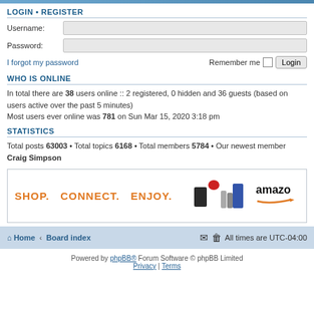LOGIN • REGISTER
Username:
Password:
I forgot my password
Remember me  Login
WHO IS ONLINE
In total there are 38 users online :: 2 registered, 0 hidden and 36 guests (based on users active over the past 5 minutes)
Most users ever online was 781 on Sun Mar 15, 2020 3:18 pm
STATISTICS
Total posts 63003 • Total topics 6168 • Total members 5784 • Our newest member Craig Simpson
[Figure (infographic): Amazon advertisement banner: 'SHOP. CONNECT. ENJOY.' with product images and Amazon logo]
Home • Board index   All times are UTC-04:00
Powered by phpBB® Forum Software © phpBB Limited
Privacy | Terms